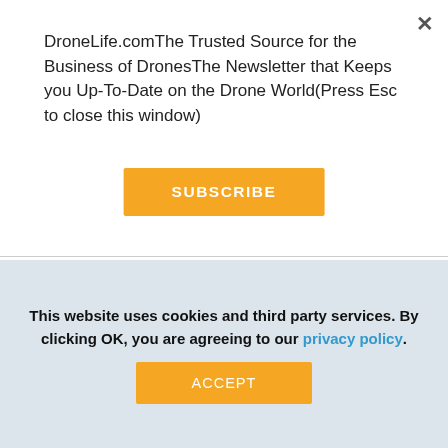DroneLife.comThe Trusted Source for the Business of DronesThe Newsletter that Keeps you Up-To-Date on the Drone World(Press Esc to close this window)
SUBSCRIBE
passenger jets, the UK's Daily Mail reports.  The crashes are part of… Read more »
Share  0   Tweet   Share
This website uses cookies and third party services. By clicking OK, you are agreeing to our privacy policy.
ACCEPT